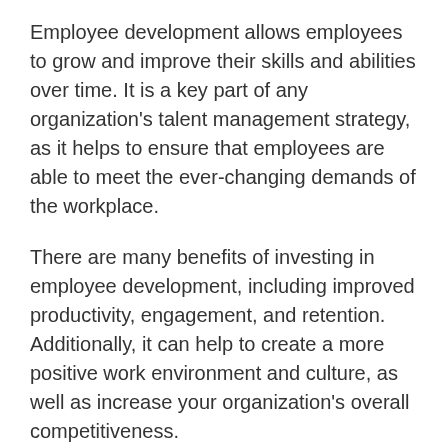Employee development allows employees to grow and improve their skills and abilities over time. It is a key part of any organization's talent management strategy, as it helps to ensure that employees are able to meet the ever-changing demands of the workplace.
There are many benefits of investing in employee development, including improved productivity, engagement, and retention. Additionally, it can help to create a more positive work environment and culture, as well as increase your organization's overall competitiveness.
While there is no one-size-fits-all approach to employee development, there are some essential elements that all successful programs should include. These include clear goals and objectives, a focus on individual learning needs, ongoing feedback and assessment, and a commitment from both employees and managers.